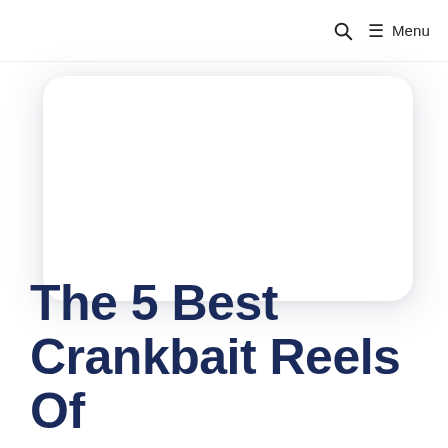🔍  ☰ Menu
[Figure (other): White rounded rectangle card with drop shadow, serving as an image placeholder]
The 5 Best Crankbait Reels Of